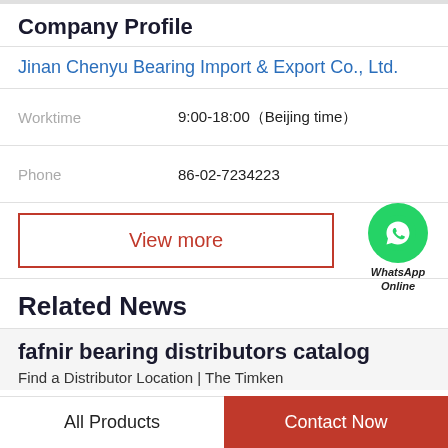Company Profile
Jinan Chenyu Bearing Import & Export Co., Ltd.
Worktime  9:00-18:00（Beijing time）
Phone  86-02-7234223
View more
[Figure (logo): WhatsApp Online green phone icon with text WhatsApp Online below]
Related News
fafnir bearing distributors catalog
Find a Distributor Location | The Timken
All Products   Contact Now